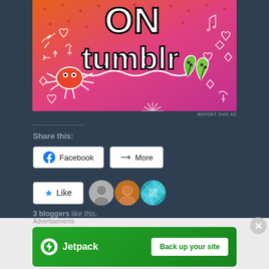[Figure (illustration): Tumblr advertisement banner with colorful orange-to-pink gradient background, showing 'ON tumblr' text in large letters with doodle illustrations including a crab, leaves, musical notes, hearts, and arrows]
REPORT THIS AD
Share this:
Facebook | More
Like | 3 bloggers like this.
bkgriffinsnest   Saturday Stitching
[Figure (illustration): Jetpack advertisement banner with green background showing Jetpack logo and 'Back up your site' button]
Advertisements